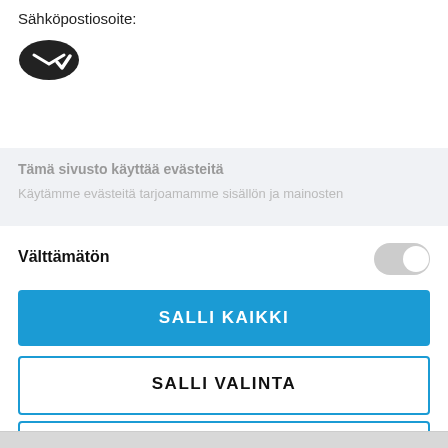Sähköpostiosoite:
[Figure (logo): Dark oval email/checkmark icon]
Tämä sivusto käyttää evästeitä
Käytämme evästeitä tarjoamamme sisällön ja mainosten
Välttämätön
[Figure (other): Toggle switch in off/grey state]
SALLI KAIKKI
SALLI VALINTA
KIELLÄ
Powered by Cookiebot by Usercentrics